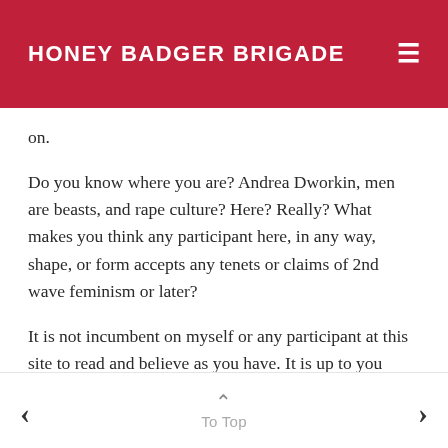HONEY BADGER BRIGADE
on.
Do you know where you are? Andrea Dworkin, men are beasts, and rape culture? Here? Really? What makes you think any participant here, in any way, shape, or form accepts any tenets or claims of 2nd wave feminism or later?
It is not incumbent on myself or any participant at this site to read and believe as you have. It is up to you through clear, logical, convincing, and reasoned argument to
To Top